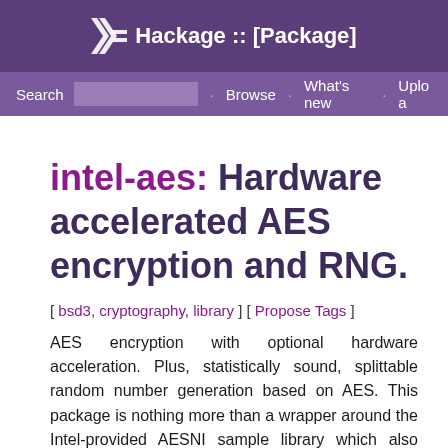Hackage :: [Package]
Search · Browse · What's new · Upload
intel-aes: Hardware accelerated AES encryption and RNG.
[ bsd3, cryptography, library ] [ Propose Tags ]
AES encryption with optional hardware acceleration. Plus, statistically sound, splittable random number generation based on AES. This package is nothing more than a wrapper around the Intel-provided AESNI sample library which also includes a portable software implementation of AES by Brian Gladman. It